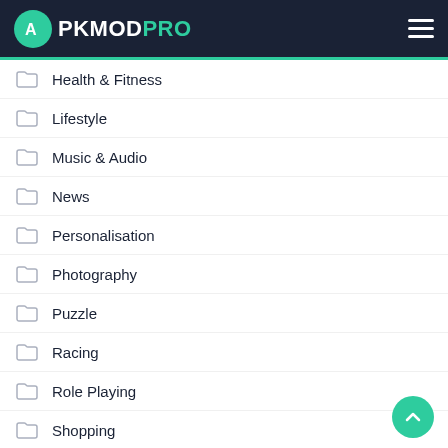APKMODPRO
Health & Fitness
Lifestyle
Music & Audio
News
Personalisation
Photography
Puzzle
Racing
Role Playing
Shopping